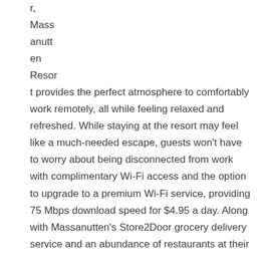r, Massanutten Resort provides the perfect atmosphere to comfortably work remotely, all while feeling relaxed and refreshed. While staying at the resort may feel like a much-needed escape, guests won't have to worry about being disconnected from work with complimentary Wi-Fi access and the option to upgrade to a premium Wi-Fi service, providing 75 Mbps download speed for $4.95 a day. Along with Massanutten's Store2Door grocery delivery service and an abundance of restaurants at their